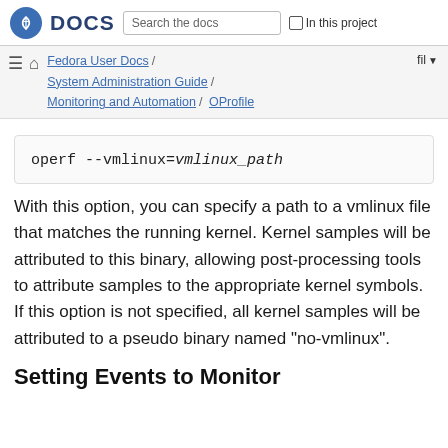Fedora DOCS  Search the docs  In this project
Fedora User Docs / System Administration Guide / Monitoring and Automation / OProfile  fil
[Figure (screenshot): Code block showing: operf --vmlinux=vmlinux_path]
With this option, you can specify a path to a vmlinux file that matches the running kernel. Kernel samples will be attributed to this binary, allowing post-processing tools to attribute samples to the appropriate kernel symbols. If this option is not specified, all kernel samples will be attributed to a pseudo binary named "no-vmlinux".
Setting Events to Monitor